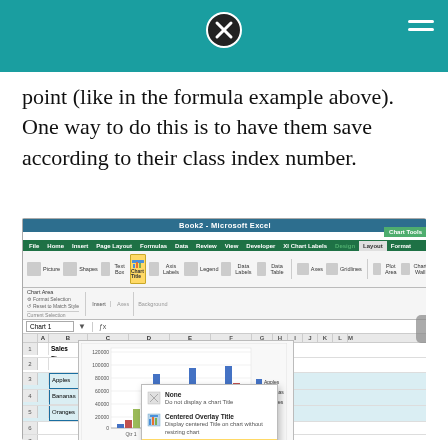point (like in the formula example above). One way to do this is to have them save according to their class index number.
[Figure (screenshot): Microsoft Excel screenshot showing a spreadsheet with Sales Figures data for Apples, Bananas, and Oranges across Qtr 1-4, with a chart title dropdown menu open showing options: None, Centered Overlay Title, Above Chart. A bar chart is visible below the data comparing the three fruit categories.]